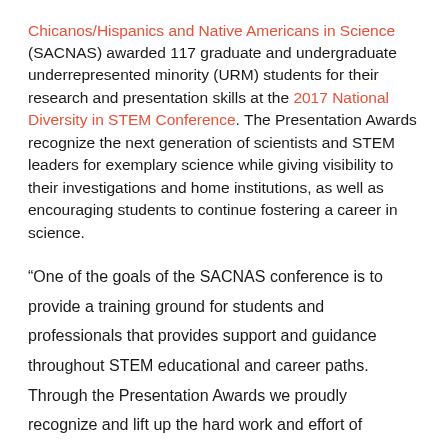Chicanos/Hispanics and Native Americans in Science (SACNAS) awarded 117 graduate and undergraduate underrepresented minority (URM) students for their research and presentation skills at the 2017 National Diversity in STEM Conference. The Presentation Awards recognize the next generation of scientists and STEM leaders for exemplary science while giving visibility to their investigations and home institutions, as well as encouraging students to continue fostering a career in science.
“One of the goals of the SACNAS conference is to provide a training ground for students and professionals that provides support and guidance throughout STEM educational and career paths. Through the Presentation Awards we proudly recognize and lift up the hard work and effort of students in their respective fields. This year, we have the fortune of honoring a brilliant cohort of nearly 120 students who are carrying the torch of...